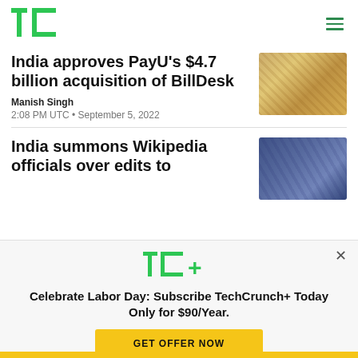TechCrunch logo and navigation
India approves PayU's $4.7 billion acquisition of BillDesk
Manish Singh
2:08 PM UTC • September 5, 2022
[Figure (photo): Photo of Indian currency notes (rupees)]
India summons Wikipedia officials over edits to
[Figure (photo): Photo of cricket players in purple/blue jerseys on field]
[Figure (other): TechCrunch+ subscription modal overlay with TC+ logo, headline 'Celebrate Labor Day: Subscribe TechCrunch+ Today Only for $90/Year.' and GET OFFER NOW button]